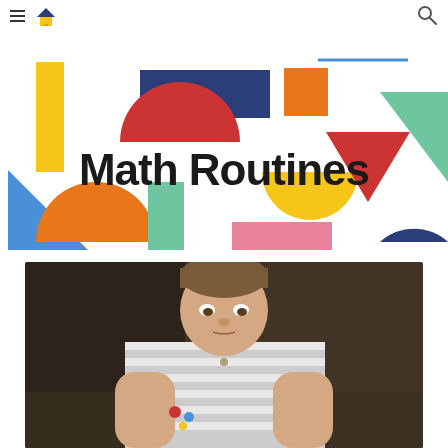Math Routines — site navigation header with hamburger menu, logo, and search icon
[Figure (illustration): Colorful geometric shapes (rectangles, triangles, semicircles) arranged decoratively with 'Math Routines' title text overlaid]
[Figure (photo): Young child in striped polo shirt holding small colorful objects, looking focused, dark blurred background]